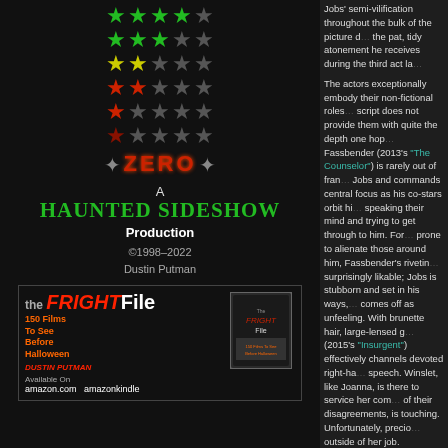[Figure (infographic): Star rating scale showing 5 stars down to zero, with colored stars (green, yellow, red) and gray unfilled stars for each rating level]
A Haunted Sideshow Production
©1998–2022 Dustin Putman
[Figure (illustration): The Fright File book advertisement with amazon.com and amazon kindle links]
Jobs' semi-vilification throughout the bulk of the picture d... the pat, tidy atonement he receives during the third act la...
The actors exceptionally embody their non-fictional roles... script does not provide them with quite the depth one hop... Fassbender (2013's "The Counselor") is rarely out of fran... Jobs and commands central focus as his co-stars orbit hi... speaking their mind and trying to get through to him. For... prone to alienate those around him, Fassbender's rivetin... surprisingly likable; Jobs is stubborn and set in his ways,... comes off as unfeeling. With brunette hair, large-lensed g... (2015's "Insurgent") effectively channels devoted right-ha... speech. Winslet, like Joanna, is there to service her com... of their disagreements, is touching. Unfortunately, precio... outside of her job.
[Figure (photo): Two men facing each other in a tense conversation scene from Steve Jobs film]
Seth Rogen (2... Wozniak, frust... unsupported by... continues to re... Wozniak tells J... times a day, I r... Martian") is su...
struggle with Jobs that damages their relationship and lea... company. Despite the father-daughter subplot becoming... Jardine (2007's "Spider-Man 3") is a standout as 19-year-... where and how of their climactic interaction rings resoun...
"Steve Jobs" is a physically insular drama—the amount o...